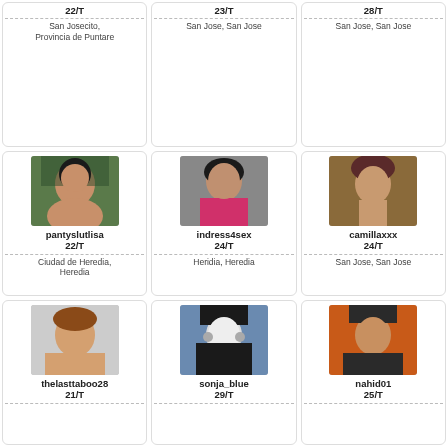22/T
San Josecito, Provincia de Puntare
23/T
San Jose, San Jose
28/T
San Jose, San Jose
[Figure (photo): Profile photo of pantyslutlisa]
pantyslutlisa
22/T
Ciudad de Heredia, Heredia
[Figure (photo): Profile photo of indress4sex]
indress4sex
24/T
Heridia, Heredia
[Figure (photo): Profile photo of camillaxxx]
camillaxxx
24/T
San Jose, San Jose
[Figure (photo): Profile photo of thelasttaboo28]
thelasttaboo28
21/T
[Figure (photo): Profile photo of sonja_blue]
sonja_blue
29/T
[Figure (photo): Profile photo of nahid01]
nahid01
25/T